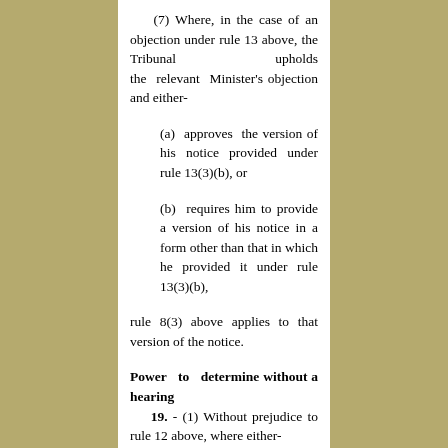(7) Where, in the case of an objection under rule 13 above, the Tribunal upholds the relevant Minister's objection and either-
(a)  approves  the version of his notice provided under rule 13(3)(b), or
(b)  requires him to provide a version of his notice in a form other than that in which he provided it under rule 13(3)(b),
rule 8(3) above applies to that version of the notice.
Power to determine without a hearing
19. - (1) Without prejudice to rule 12 above, where either-